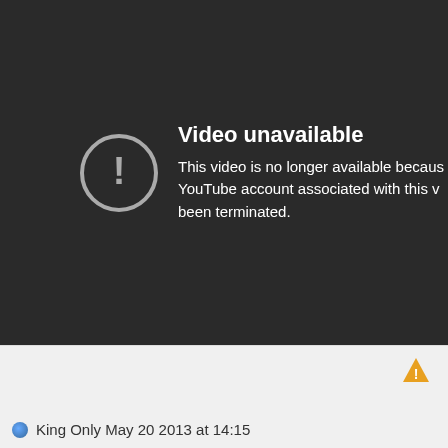[Figure (screenshot): YouTube 'Video unavailable' error screen on dark background with circular exclamation icon. Text reads: 'Video unavailable. This video is no longer available because the YouTube account associated with this video has been terminated.']
King Only May 20 2013 at 14:15